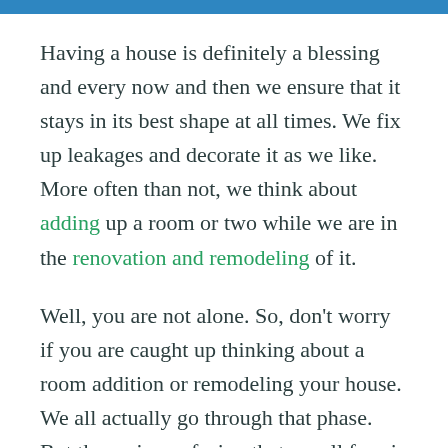Having a house is definitely a blessing and every now and then we ensure that it stays in its best shape at all times. We fix up leakages and decorate it as we like. More often than not, we think about adding up a room or two while we are in the renovation and remodeling of it.
Well, you are not alone. So, don't worry if you are caught up thinking about a room addition or remodeling your house. We all actually go through that phase. But the main confusion that we all face is being unable to decide what exactly do we make of that room?